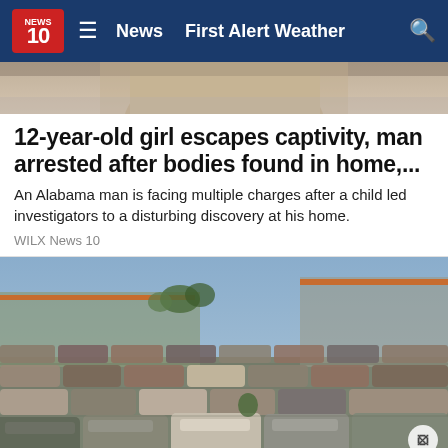NEWS 10 | News  First Alert Weather
[Figure (photo): Partial cropped photo showing top of a person's head/face, appears to be a news story image]
12-year-old girl escapes captivity, man arrested after bodies found in home,...
An Alabama man is facing multiple charges after a child led investigators to a disturbing discovery at his home.
WILX News 10
[Figure (photo): Aerial/ground-level view of a large car lot or vehicle storage facility with hundreds of cars packed closely together, with a large building structure visible in the background. A circular close/dismiss button appears in the bottom right corner.]